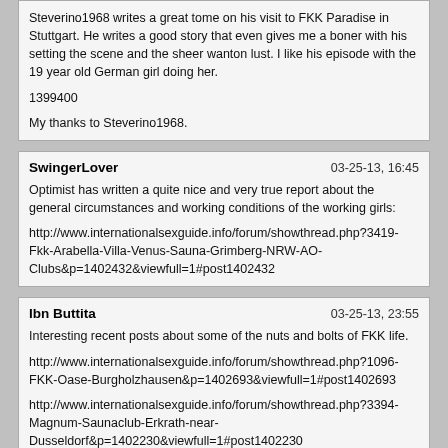Steverino1968 writes a great tome on his visit to FKK Paradise in Stuttgart. He writes a good story that even gives me a boner with his setting the scene and the sheer wanton lust. I like his episode with the 19 year old German girl doing her.

1399400

My thanks to Steverino1968.
SwingerLover | 03-25-13, 16:45
Optimist has written a quite nice and very true report about the general circumstances and working conditions of the working girls:

http://www.internationalsexguide.info/forum/showthread.php?3419-Fkk-Arabella-Villa-Venus-Sauna-Grimberg-NRW-AO-Clubs&p=1402432&viewfull=1#post1402432
Ibn Buttita | 03-25-13, 23:55
Interesting recent posts about some of the nuts and bolts of FKK life.

http://www.internationalsexguide.info/forum/showthread.php?1096-FKK-Oase-Burgholzhausen&p=1402693&viewfull=1#post1402693

http://www.internationalsexguide.info/forum/showthread.php?3394-Magnum-Saunaclub-Erkrath-near-Dusseldorf&p=1402230&viewfull=1#post1402230
PunterWanderer | 03-28-13, 23:27
May not provide practical informations, but I found interesting the historical digression on the FKK's world done by Hessen Bub:

http://www.internationalsexguide.info/forum/showthread.php?2588-FKK-